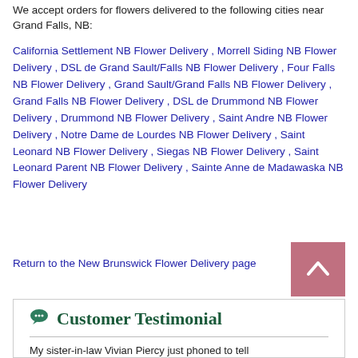We accept orders for flowers delivered to the following cities near Grand Falls, NB:
California Settlement NB Flower Delivery , Morrell Siding NB Flower Delivery , DSL de Grand Sault/Falls NB Flower Delivery , Four Falls NB Flower Delivery , Grand Sault/Grand Falls NB Flower Delivery , Grand Falls NB Flower Delivery , DSL de Drummond NB Flower Delivery , Drummond NB Flower Delivery , Saint Andre NB Flower Delivery , Notre Dame de Lourdes NB Flower Delivery , Saint Leonard NB Flower Delivery , Siegas NB Flower Delivery , Saint Leonard Parent NB Flower Delivery , Sainte Anne de Madawaska NB Flower Delivery
Return to the New Brunswick Flower Delivery page
Customer Testimonial
My sister-in-law Vivian Piercy just phoned to tell